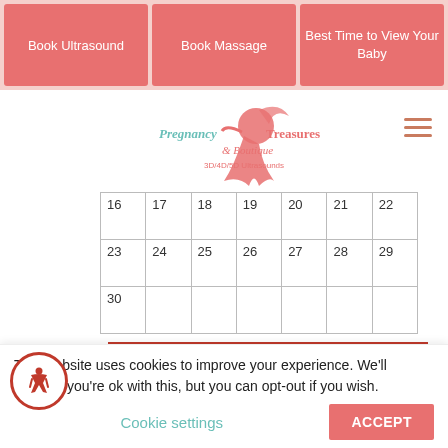Book Ultrasound | Book Massage | Best Time to View Your Baby
[Figure (logo): Pregnancy Treasures & Boutique 3D/4D/5D Ultrasounds mermaid logo]
| 16 | 17 | 18 | 19 | 20 | 21 | 22 |
| 23 | 24 | 25 | 26 | 27 | 28 | 29 |
| 30 |  |  |  |  |  |  |
Week 8+ weeks – Can't wait to see the gender we can help. DNA gender testing with a licensed Phlebotomist at our studio and you will get the results the next day. You must be at least 8 weeks pregnant. DNA gender testing is 99.9% accurate. You do not need to fast or prepare for this test but best to drink water to
This website uses cookies to improve your experience. We'll assume you're ok with this, but you can opt-out if you wish.
Cookie settings
ACCEPT